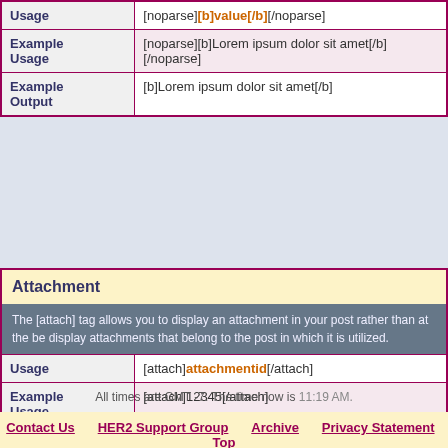|  |  |
| --- | --- |
| Usage | [noparse][b]value[/b][/noparse] |
| Example Usage | [noparse][b]Lorem ipsum dolor sit amet[/b][/noparse] |
| Example Output | [b]Lorem ipsum dolor sit amet[/b] |
Attachment
The [attach] tag allows you to display an attachment in your post rather than at the bottom. It will only display attachments that belong to the post in which it is utilized.
|  |  |
| --- | --- |
| Usage | [attach]attachmentid[/attach] |
| Example Usage | [attach]12345[/attach] |
| Example Output |  |
All times are GMT -7. The time now is 11:19 AM.
Contact Us   HER2 Support Group   Archive   Privacy Statement   Top